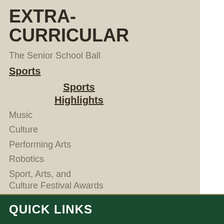EXTRA-CURRICULAR
The Senior School Ball
Sports
Sports Highlights
Music
Culture
Performing Arts
Robotics
Sport, Arts, and Culture Festival Awards
International Exchanges
QUICK LINKS